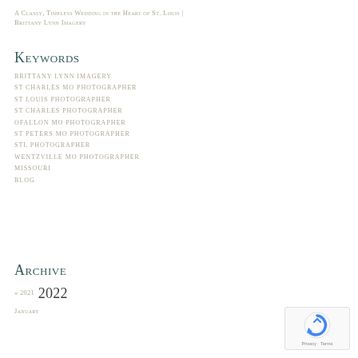A Classy, Timeless Wedding in the Heart of St. Louis | Brittany Lynn Imagery
Keywords
BRITTANY LYNN IMAGERY
ST CHARLES MO PHOTOGRAPHER
ST LOUIS PHOTOGRAPHER
ST CHARLES PHOTOGRAPHER
OFALLON MO PHOTOGRAPHER
ST PETERS MO PHOTOGRAPHER
STL PHOTOGRAPHER
WENTZVILLE MO PHOTOGRAPHER
MISSOURI
BLOG
Archive
« 2021  2022
January
[Figure (logo): reCAPTCHA badge with Privacy and Terms links]